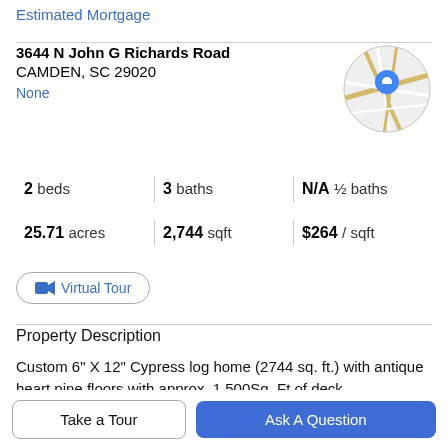Estimated Mortgage
3644 N John G Richards Road
CAMDEN, SC 29020
None
[Figure (map): Circular map thumbnail showing road map with blue location pin marker]
2 beds   3 baths   N/A ½ baths
25.71 acres   2,744 sqft   $264 / sqft
Virtual Tour
Property Description
Custom 6" X 12" Cypress log home (2744 sq. ft.) with antique heart pine floors with approx. 1,500Sq. Ft of deck
Take a Tour
Ask A Question